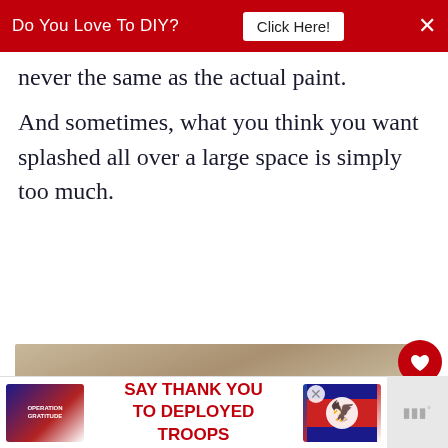Do You Love To DIY? Click Here!
never the same as the actual paint.
And sometimes, what you think you want splashed all over a large space is simply too much.
[Figure (photo): Photo of a beige/tan painted wall with a paint roller visible at the bottom]
[Figure (infographic): WHAT'S NEXT panel with thumbnail and text: How To Make A Box Pleat...]
[Figure (infographic): Bottom advertisement banner: Operation Gratitude - SAY THANK YOU TO DEPLOYED TROOPS]